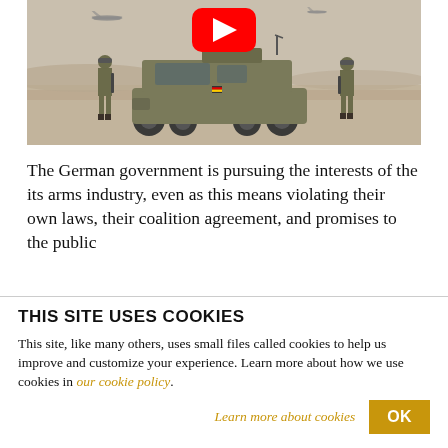[Figure (photo): Military scene: two soldiers standing beside a large military armored vehicle (MRAP/Dingo) in a desert/arid landscape. Fighter jets visible in sky background. YouTube play button overlay in center top.]
The German government is pursuing the interests of the its arms industry, even as this means violating their own laws, their coalition agreement, and promises to the public
THIS SITE USES COOKIES
This site, like many others, uses small files called cookies to help us improve and customize your experience. Learn more about how we use cookies in our cookie policy.
Learn more about cookies
OK